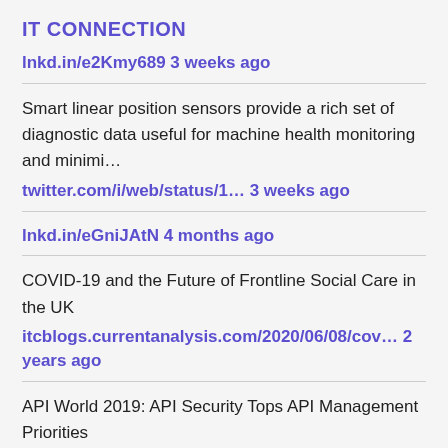IT CONNECTION
lnkd.in/e2Kmy689 3 weeks ago
Smart linear position sensors provide a rich set of diagnostic data useful for machine health monitoring and minimi…
twitter.com/i/web/status/1… 3 weeks ago
lnkd.in/eGniJAtN 4 months ago
COVID-19 and the Future of Frontline Social Care in the UK
itcblogs.currentanalysis.com/2020/06/08/cov… 2 years ago
API World 2019: API Security Tops API Management Priorities